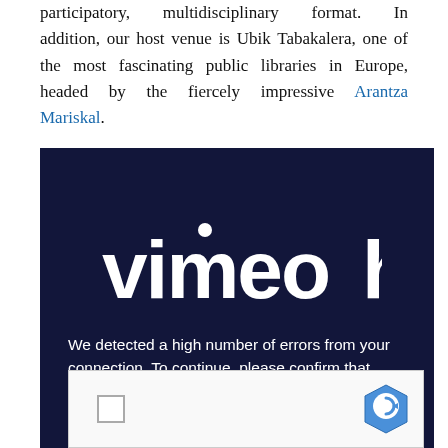participatory, multidisciplinary format. In addition, our host venue is Ubik Tabakalera, one of the most fascinating public libraries in Europe, headed by the fiercely impressive Arantza Mariskal.
[Figure (screenshot): Screenshot of a Vimeo error page on a dark navy background. Shows the Vimeo logo in white and text reading: 'We detected a high number of errors from your connection. To continue, please confirm that youâ€™re a human (and not a spambot).' Below is a reCAPTCHA widget partially visible.]